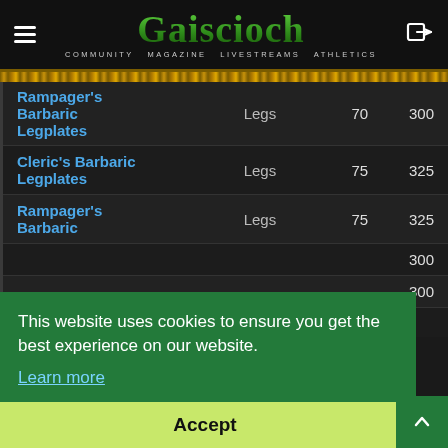Gaiscioch — Community Magazine Livestreams Athletics
| Item | Slot | Level | Points |
| --- | --- | --- | --- |
| Rampager's Barbaric Legplates (partial) | Legs | 70 | 300 |
| Cleric's Barbaric Legplates | Legs | 75 | 325 |
| Rampager's Barbaric | Legs | 75 | 325 |
| (item) | Legs |  | 300 |
| (item) | Legs |  | 300 |
| Carrion |  |  |  |
This website uses cookies to ensure you get the best experience on our website. Learn more
Accept